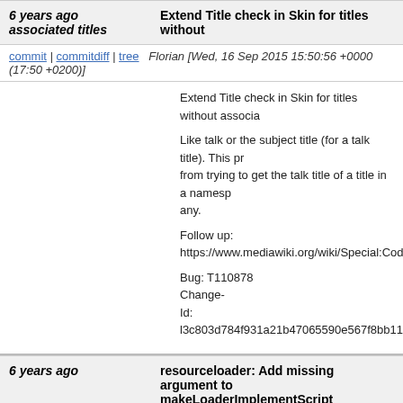6 years ago associated titles | Extend Title check in Skin for titles without associated titles
commit | commitdiff | tree  Florian [Wed, 16 Sep 2015 15:50:56 +0000 (17:50 +0200)]
Extend Title check in Skin for titles without associa...

Like talk or the subject title (for a talk title). This pr... from trying to get the talk title of a title in a namesp... any.

Follow up:
https://www.mediawiki.org/wiki/Special:Code/Medi...

Bug: T110878
Change-
Id: l3c803d784f931a21b47065590e567f8bb111aa...
6 years ago   resourceloader: Add missing argument to makeLoaderImplementScript
commit | commitdiff | tree  jeroendedauw [Wed, 16 Sep 2015 14:53:18 +0000 (16:53 +0200)]
resourceloader: Add missing argument to makeLo...

Change-